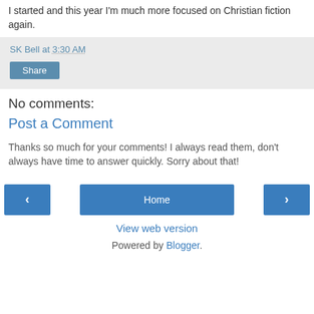I started and this year I'm much more focused on Christian fiction again.
SK Bell at 3:30 AM
Share
No comments:
Post a Comment
Thanks so much for your comments! I always read them, don't always have time to answer quickly. Sorry about that!
‹  Home  ›
View web version
Powered by Blogger.